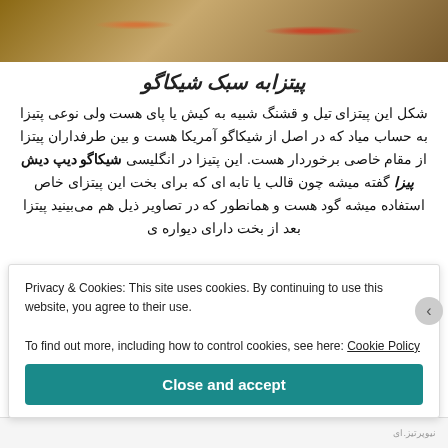[Figure (photo): Photo of pizza on a plate, top portion of the page]
پیتزابه سبک شیکاگو
شکل این پیتزای تیل و قشنگ شبیه به کیش یا پای هست ولی نوعی پتیزا به حساب مياد که در اصل از شیکاگو آمریکا هست و بین طرفداران پیتزا از مقام خاصی برخوردار هست. این پتیزا در انگلیسی شیکاگو دیپ دیش پیزا گفته میشه چون قالب یا تابه ای که برای بخت این پیتزای خاص استفاده میشه گود هست و همانطور که در تصاویر ذیل هم می‌بینید پیتزا بعد از بخت دارای دیواره ی
Privacy & Cookies: This site uses cookies. By continuing to use this website, you agree to their use.
To find out more, including how to control cookies, see here: Cookie Policy
Close and accept
نیوپرتیز.ای